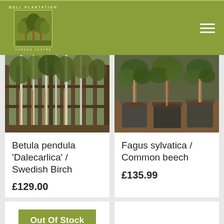Bell Plantation Garden Centre
[Figure (photo): Photo of Betula pendula Dalecarlica / Swedish Birch trees planted in a garden with wooden fence backing]
Betula pendula 'Dalecarlica' / Swedish Birch
£129.00
[Figure (photo): Photo of Fagus sylvatica / Common beech trees in large plastic pots]
Fagus sylvatica / Common beech
£135.99
Out Of Stock